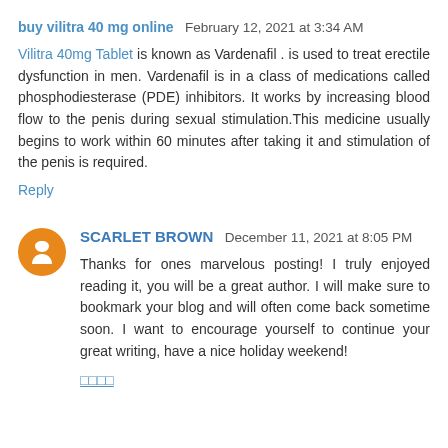buy vilitra 40 mg online  February 12, 2021 at 3:34 AM
Vilitra 40mg Tablet is known as Vardenafil . is used to treat erectile dysfunction in men. Vardenafil is in a class of medications called phosphodiesterase (PDE) inhibitors. It works by increasing blood flow to the penis during sexual stimulation.This medicine usually begins to work within 60 minutes after taking it and stimulation of the penis is required.
Reply
SCARLET BROWN  December 11, 2021 at 8:05 PM
Thanks for ones marvelous posting! I truly enjoyed reading it, you will be a great author. I will make sure to bookmark your blog and will often come back sometime soon. I want to encourage yourself to continue your great writing, have a nice holiday weekend!
□□□□